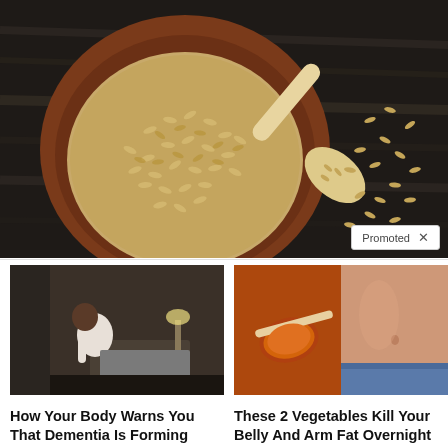[Figure (photo): Overhead view of a wooden bowl filled with grain/barley seeds and a wooden scoop with seeds scattered on a dark wooden surface]
Promoted ×
[Figure (photo): Person sitting on edge of bed hunched over, appearing distressed, in a dimly lit room]
How Your Body Warns You That Dementia Is Forming
🔥 51,241
[Figure (photo): Split image: left side shows a spoon with orange spice/powder, right side shows a bare midriff/stomach]
These 2 Vegetables Kill Your Belly And Arm Fat Overnight
🔥 14,527